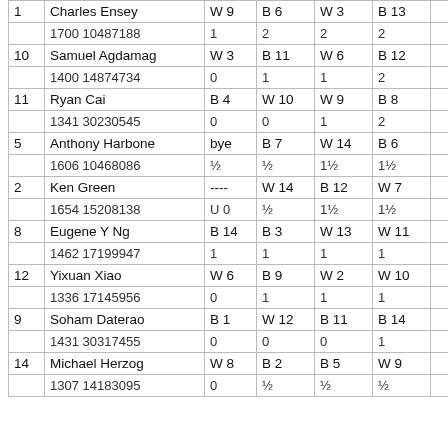| # | Name / ID | Rd 1 | Rd 2 | Rd 3 | Rd 4 |  |
| --- | --- | --- | --- | --- | --- | --- |
| 1 | Charles Ensey | W 9 | B 6 | W 3 | B 13 |  |
|  | 1700 10487188 | 1 | 2 | 2 | 2 |  |
| 10 | Samuel Agdamag | W 3 | B 11 | W 6 | B 12 |  |
|  | 1400 14874734 | 0 | 1 | 1 | 2 |  |
| 11 | Ryan Cai | B 4 | W 10 | W 9 | B 8 |  |
|  | 1341 30230545 | 0 | 0 | 1 | 2 |  |
| 5 | Anthony Harbone | bye | B 7 | W 14 | B 6 |  |
|  | 1606 10468086 | ½ | ½ | 1½ | 1½ |  |
| 2 | Ken Green | ---- | W 14 | B 12 | W 7 |  |
|  | 1654 15208138 | U 0 | ½ | 1½ | 1½ |  |
| 8 | Eugene Y Ng | B 14 | B 3 | W 13 | W 11 |  |
|  | 1462 17199947 | 1 | 1 | 1 | 1 |  |
| 12 | Yixuan Xiao | W 6 | B 9 | W 2 | W 10 |  |
|  | 1336 17145956 | 0 | 1 | 1 | 1 |  |
| 9 | Soham Daterao | B 1 | W 12 | B 11 | B 14 |  |
|  | 1431 30317455 | 0 | 0 | 0 | 1 |  |
| 14 | Michael Herzog | W 8 | B 2 | B 5 | W 9 |  |
|  | 1307 14183095 | 0 | ½ | ½ | ½ |  |